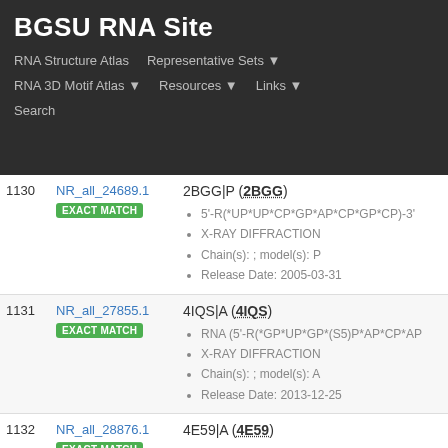BGSU RNA Site — RNA Structure Atlas | Representative Sets | RNA 3D Motif Atlas | Resources | Links | Search
| # | ID | Details |
| --- | --- | --- |
| 1130 | NR_all_24689.1 EXACT MATCH | 2BGG|P (2BGG) • 5'-R(*UP*UP*CP*GP*AP*CP*GP*CP)-3' • X-RAY DIFFRACTION • Chain(s): ; model(s): P • Release Date: 2005-03-31 |
| 1131 | NR_all_27855.1 EXACT MATCH | 4IQS|A (4IQS) • RNA (5'-R(*GP*UP*GP*(S5)P*AP*CP*AP • X-RAY DIFFRACTION • Chain(s): ; model(s): A • Release Date: 2013-12-25 |
| 1132 | NR_all_28876.1 EXACT MATCH Homo sapiens | 4E59|A (4E59) • RNA duplex containing CCG repeats • X-RAY DIFFRACTION |